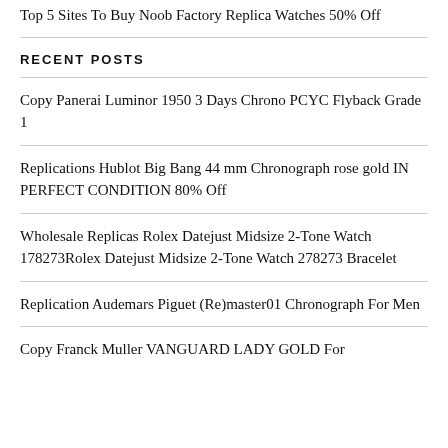Top 5 Sites To Buy Noob Factory Replica Watches 50% Off
RECENT POSTS
Copy Panerai Luminor 1950 3 Days Chrono PCYC Flyback Grade 1
Replications Hublot Big Bang 44 mm Chronograph rose gold IN PERFECT CONDITION 80% Off
Wholesale Replicas Rolex Datejust Midsize 2-Tone Watch 178273Rolex Datejust Midsize 2-Tone Watch 278273 Bracelet
Replication Audemars Piguet (Re)master01 Chronograph For Men
Copy Franck Muller VANGUARD LADY GOLD For